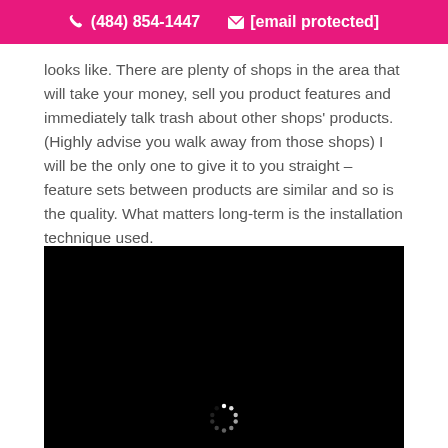📞 (484) 854-1447   ✉ [email protected]
looks like. There are plenty of shops in the area that will take your money, sell you product features and immediately talk trash about other shops' products. (Highly advise you walk away from those shops) I will be the only one to give it to you straight – feature sets between products are similar and so is the quality. What matters long-term is the installation technique used.
[Figure (other): Black video placeholder with a loading spinner icon at bottom center]